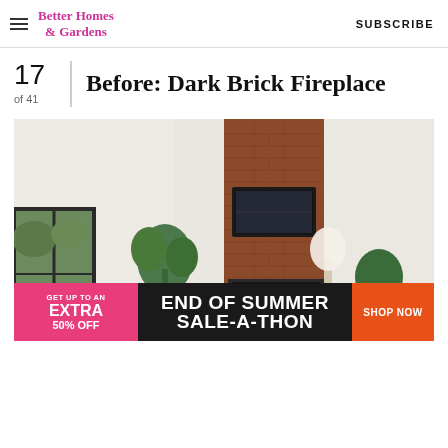Better Homes & Gardens | SUBSCRIBE
Before: Dark Brick Fireplace
17 of 41
[Figure (photo): Interior living room photo showing a tall dark red brick fireplace wall with a TV mounted on it, white walls, high vaulted ceiling, a window on the left with visible greenery outside, a large indoor plant, a lamp, a sofa with striped pillows, and another plant on the right.]
[Figure (infographic): Advertisement banner: 'GET UP TO AN EXTRA 50% OFF' on pink background, 'END OF SUMMER SALE-A-THON' on dark background, 'SHOP NOW' on orange button]